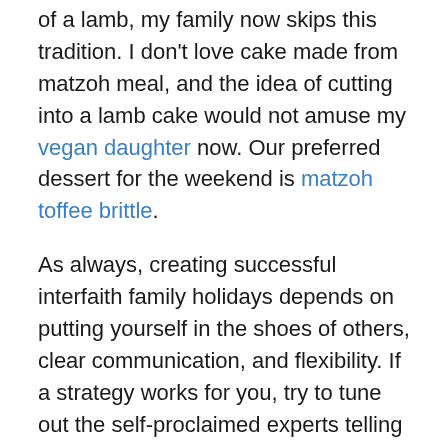of a lamb, my family now skips this tradition. I don't love cake made from matzoh meal, and the idea of cutting into a lamb cake would not amuse my vegan daughter now. Our preferred dessert for the weekend is matzoh toffee brittle.
As always, creating successful interfaith family holidays depends on putting yourself in the shoes of others, clear communication, and flexibility. If a strategy works for you, try to tune out the self-proclaimed experts telling you that you are doing it wrong, that your innovations are inauthentic, or that you have to do it all. Remember that all religious traditions change over time: they cannot be pinned down like desiccated butterfly specimens in a museum case. Be confident in the knowledge that the different ways to celebrate together are as numerous as